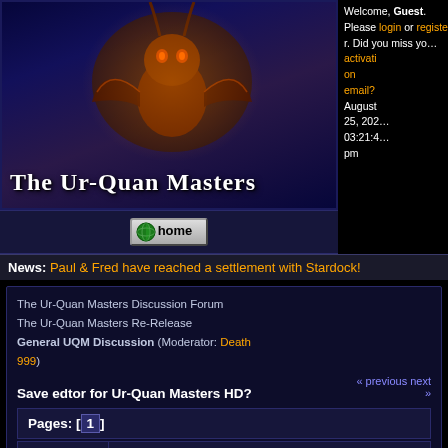[Figure (screenshot): The Ur-Quan Masters website banner with dark blue background, fantasy creature illustration, and large white serif title text]
Welcome, Guest. Please login or register. Did you miss your activation email? August 25, 2023 03:21:45 pm
[Figure (illustration): Home button with globe icon]
News: Paul & Fred have reached a settlement with Stardock!
The Ur-Quan Masters Discussion Forum
The Ur-Quan Masters Re-Release
General UQM Discussion (Moderator: Death 999)
Save edtor for Ur-Quan Masters HD?
« previous next »
Pages: [1]
| Author | Topic: Save edtor for Ur-Quan Masters HD?  (Read 2034 times) |
| --- | --- |